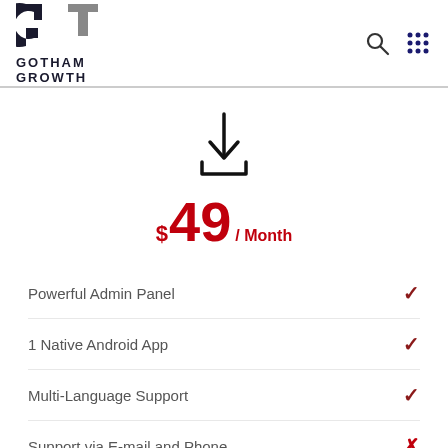Gotham Growth
[Figure (illustration): Download icon — downward arrow with tray/inbox shape]
$49 / Month
Powerful Admin Panel — check
1 Native Android App — check
Multi-Language Support — check
Support via E-mail and Phone — X